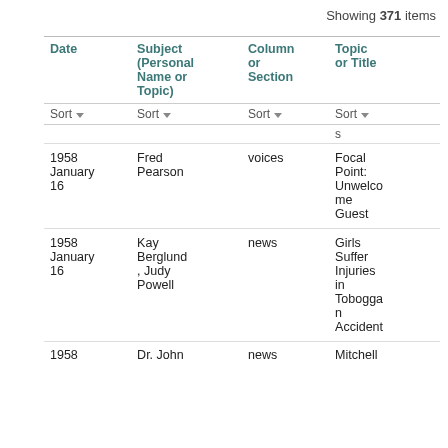Showing 371 items
| Date | Subject (Personal Name or Topic) | Column or Section | Topic or Title |
| --- | --- | --- | --- |
| 1958 January 16 | Fred Pearson | voices | Focal Point: Unwelcome Guest |
| 1958 January 16 | Kay Berglund, Judy Powell | news | Girls Suffer Injuries in Toboggan Accident |
| 1958 | Dr. John | news | Mitchell |